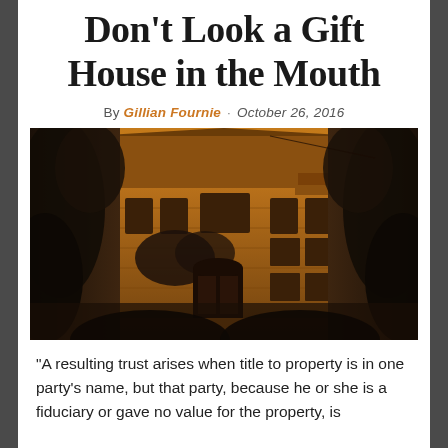Don't Look a Gift House in the Mouth
By Gillian Fournie · October 26, 2016
[Figure (photo): Sepia/amber-toned photograph of a large stone estate house with arched doorway, ivy growing on the facade, flanked by dark hedge topiaries in the foreground.]
“A resulting trust arises when title to property is in one party’s name, but that party, because he or she is a fiduciary or gave no value for the property, is